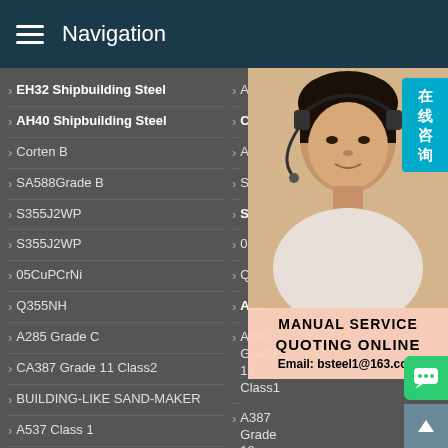Navigation
EH32 Shipbuilding Steel
AH40 Shipbuilding Steel
Corten B
SA588Grade B
S355J2WP
S355J2WP
05CuPCrNi
Q355NH
A285 Grade C
CA387 Grade 11 Class2
BUILDING-LIKE SAND-MAKER
A537 Class 1
AH36
Corten
A588G
S355J
S355J
09CuP
Q355G
A204
A387 Grade 11 Class1
A387 Grade 12 Class1
A387 Grade 12 Class2
A516 Grade 70
P235GH
[Figure (photo): Customer service representative with headset, with Chinese text badge reading 在线咨询 (Online Consultation), and advertisement text: MANUAL SERVICE, QUOTING ONLINE, Email: bsteel1@163.com]